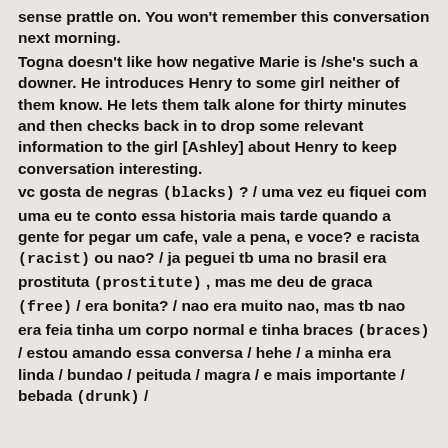sense prattle on. You won't remember this conversation next morning.
Togna doesn't like how negative Marie is /she's such a downer. He introduces Henry to some girl neither of them know. He lets them talk alone for thirty minutes and then checks back in to drop some relevant information to the girl [Ashley] about Henry to keep conversation interesting.
vc gosta de negras (blacks) ? / uma vez eu fiquei com uma eu te conto essa historia mais tarde quando a gente for pegar um cafe, vale a pena, e voce? e racista (racist) ou nao? / ja peguei tb uma no brasil era prostituta (prostitute) , mas me deu de graca (free) / era bonita? / nao era muito nao, mas tb nao era feia tinha um corpo normal e tinha braces (braces) / estou amando essa conversa / hehe / a minha era linda / bundao / peituda / magra / e mais importante / bebada (drunk) /